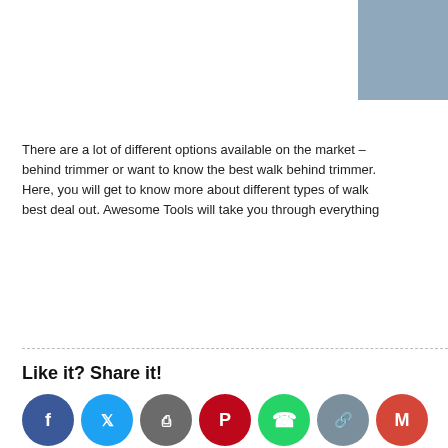[Figure (photo): Partial image of a gray-blue background, cropped, top-right corner of the page]
There are a lot of different options available on the market – behind trimmer or want to know the best walk behind trimmer. Here, you will get to know more about different types of walk best deal out. Awesome Tools will take you through everything
Like it? Share it!
[Figure (infographic): Row of social share buttons: Facebook (blue), Twitter (light blue), Print (gray), Pinterest (red), WhatsApp (green), Copy (gray-blue), Gmail (red), LinkedIn (dark blue), Google (gray-blue), More (orange)]
About the Author
[Figure (logo): Circular logo with 'AW' text and image of a walk-behind trimmer, with text 'Walk Behind Trimmers Attachment' around the border]
Walk Behind Trimmer
Joined: February 13th, 2020
Articles Posted: 1
Trending Articles | Register | Login
Copyright © 2010-2022 Uberant.com